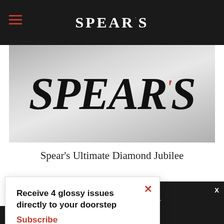SPEAR'S
[Figure (logo): Spear's magazine logo — large serif italic uppercase SPEAR'S text on a grey gradient background]
Spear's Ultimate Diamond Jubilee
Receive 4 glossy issues directly to your doorstep
Subscribe
continue using our all cookies on this
Continue   Learn more